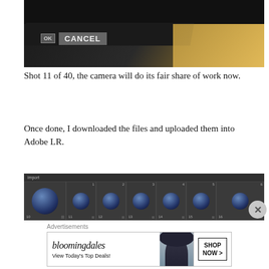[Figure (photo): Close-up photo of a camera with OK button and CANCEL label on a dark panel, warm light in background]
Shot 11 of 40, the camera will do its fair share of work now.
Once done, I downloaded the files and uploaded them into Adobe LR.
[Figure (screenshot): Screenshot of Adobe Lightroom showing a strip of thumbnails, numbered 1-16, each showing a small blue gem/jewelry item against a light background]
Advertisements
[Figure (other): Bloomingdale's advertisement banner: 'bloomingdales / View Today's Top Deals!' with a woman in a blue hat, and a 'SHOP NOW >' button]